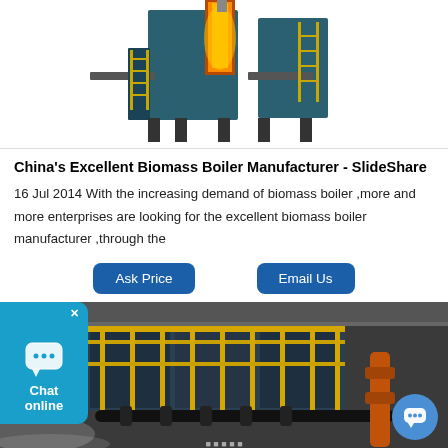[Figure (photo): 3D render of a large industrial biomass boiler with orange combustion glow, dark teal metal structure, yellow walkway railings, and staircase on white background]
China's Excellent Biomass Boiler Manufacturer - SlideShare
16 Jul 2014 With the increasing demand of biomass boiler ,more and more enterprises are looking for the excellent biomass boiler manufacturer ,through the
[Figure (other): Two buttons: 'Ask Price' and 'Email Us' in dark blue rounded rectangles]
[Figure (photo): Photograph of industrial biomass boiler equipment with yellow safety railings, dark metal structure, pipes, inside a factory building. Chat widget and chat bubble button overlaid.]